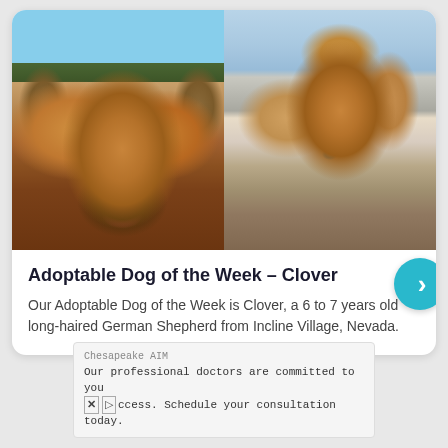[Figure (photo): Two photos of Clover, a long-haired golden/tan German Shepherd. Left photo: dog facing camera outdoors with trees in background, mouth open and tongue out. Right photo: dog sitting in a car looking out the window wearing a blue collar.]
Adoptable Dog of the Week – Clover
Our Adoptable Dog of the Week is Clover, a 6 to 7 years old long-haired German Shepherd from Incline Village, Nevada.
Chesapeake AIM
Our professional doctors are committed to you
ccess. Schedule your consultation today.